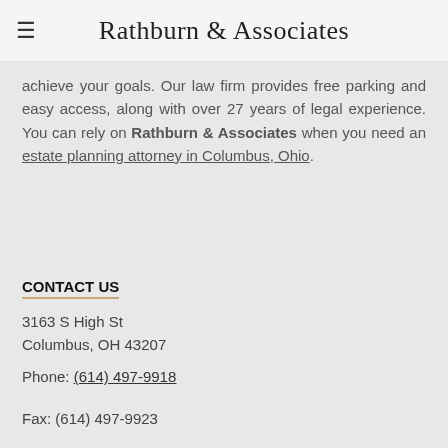Rathburn & Associates
achieve your goals. Our law firm provides free parking and easy access, along with over 27 years of legal experience. You can rely on Rathburn & Associates when you need an estate planning attorney in Columbus, Ohio.
CONTACT US
3163 S High St
Columbus, OH 43207
Phone: (614) 497-9918
Fax: (614) 497-9923